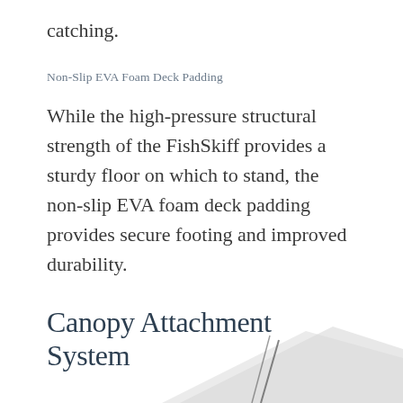catching.
Non-Slip EVA Foam Deck Padding
While the high-pressure structural strength of the FishSkiff provides a sturdy floor on which to stand, the non-slip EVA foam deck padding provides secure footing and improved durability.
Canopy Attachment System
[Figure (photo): Partial view of a white canopy or sail-like structure against a white background, showing the bottom edge and mounting hardware.]